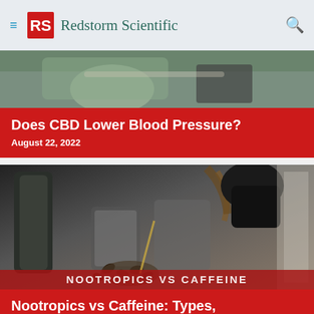Redstorm Scientific
[Figure (photo): Hands resting on a surface, partial cropped image, top of first article card]
Does CBD Lower Blood Pressure?
August 22, 2022
[Figure (photo): Coffee being poured from a French press into a glass cup, with coffee beans scattered on the table, moody dark background]
Nootropics vs Caffeine: Types, Benefits And Side-Effects